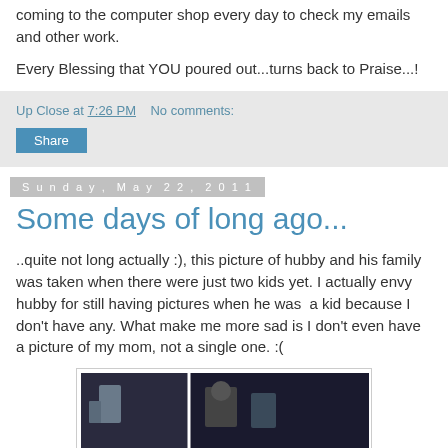coming to the computer shop every day to check my emails and other work.
Every Blessing that YOU poured out...turns back to Praise...!
Up Close at 7:26 PM   No comments:
Share
Sunday, May 22, 2011
Some days of long ago...
..quite not long actually :), this picture of hubby and his family was taken when there were just two kids yet. I actually envy hubby for still having pictures when he was  a kid because I don't have any. What make me more sad is I don't even have a picture of my mom, not a single one. :(
[Figure (photo): Old photograph showing two sections/panels of an indoor scene with dark background]